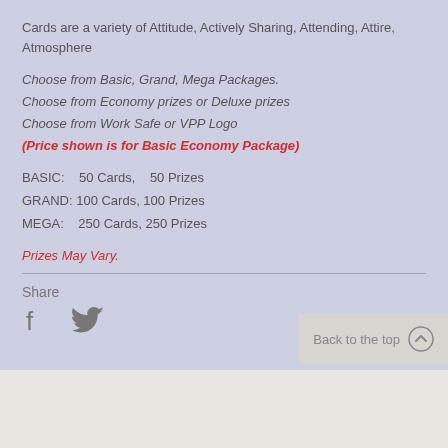Cards are a variety of Attitude, Actively Sharing, Attending, Attire, Atmosphere
Choose from Basic, Grand, Mega Packages.
Choose from Economy prizes or Deluxe prizes
Choose from Work Safe or VPP Logo
(Price shown is for Basic Economy Package)
BASIC:   50 Cards,   50 Prizes
GRAND: 100 Cards, 100 Prizes
MEGA:   250 Cards, 250 Prizes
Prizes May Vary.
Share
Back to the top